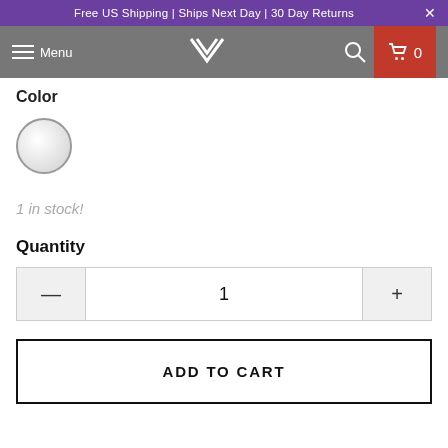Free US Shipping | Ships Next Day | 30 Day Returns
[Figure (screenshot): Navigation bar with hamburger menu icon, Menu text, V-shaped logo, search icon, and cart icon with 0 count]
Color
[Figure (other): Light gray circular color swatch with dark border]
1 in stock!
Quantity
[Figure (other): Quantity stepper control showing minus button, value 1, and plus button]
ADD TO CART